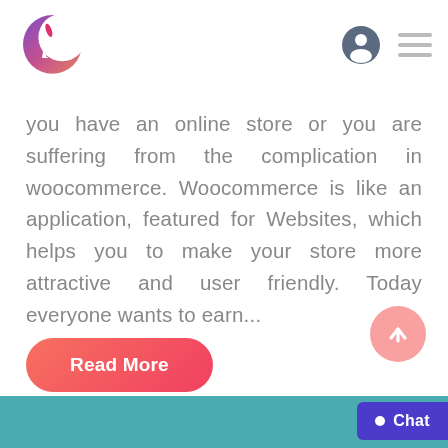[Figure (logo): Crescent moon shaped logo with italic i letter and a pen nib, gradient purple-pink colors]
you have an online store or you are suffering from the complication in woocommerce. Woocommerce is like an application, featured for Websites, which helps you to make your store more attractive and user friendly. Today everyone wants to earn...
Read More
[Figure (infographic): Teal colored strip at the bottom of the page with a Chat button on the right side]